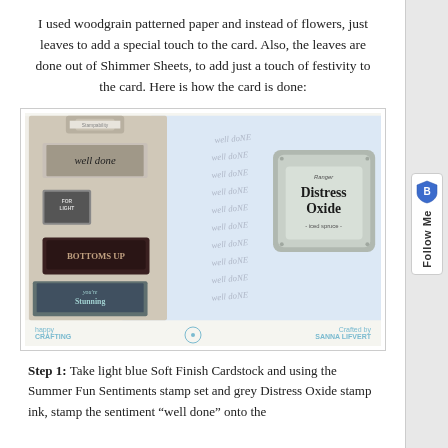I used woodgrain patterned paper and instead of flowers, just leaves to add a special touch to the card. Also, the leaves are done out of Shimmer Sheets, to add just a touch of festivity to the card. Here is how the card is done:
[Figure (photo): Photo showing crafting supplies: clear stamps on a clipboard including ones that say 'well done', a light blue cardstock with 'well done' repeated in handwritten style script, and a Ranger Distress Oxide ink pad in 'iced spruce' grey color. Caption shows 'happy CRAFTING', a logo, and 'Crafted by SANNA LIFVERT'.]
Step 1: Take light blue Soft Finish Cardstock and using the Summer Fun Sentiments stamp set and grey Distress Oxide stamp ink, stamp the sentiment “well done” onto the